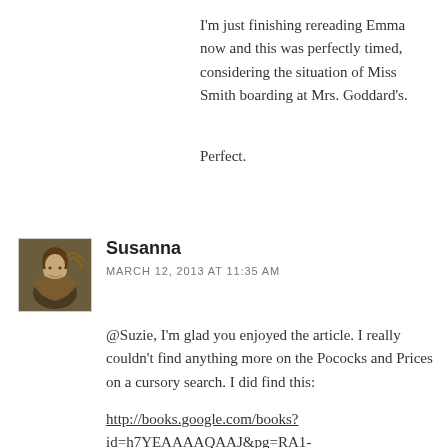I'm just finishing rereading Emma now and this was perfectly timed, considering the situation of Miss Smith boarding at Mrs. Goddard's.
Perfect.
Susanna
MARCH 12, 2013 AT 11:35 AM
[Figure (photo): Avatar portrait painting of a woman in classical style]
@Suzie, I'm glad you enjoyed the article. I really couldn't find anything more on the Pococks and Prices on a cursory search. I did find this:
http://books.google.com/books?id=h7YEAAAAQAAJ&pg=RA1-PA162&dq=hungerford+school&hl=en&sa=X&ei=93Q_UczmOpLU9ASXqIHgCw&ved=OCDoQ6A